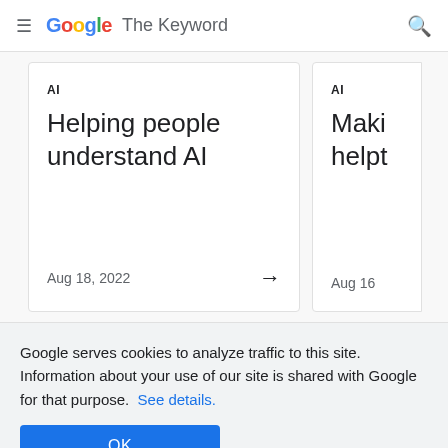≡ Google The Keyword 🔍
AI
Helping people understand AI
Aug 18, 2022 →
AI
Maki helpt
Aug 16
Google serves cookies to analyze traffic to this site. Information about your use of our site is shared with Google for that purpose.  See details.